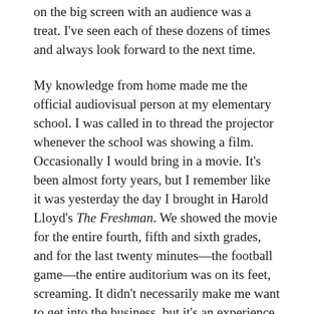on the big screen with an audience was a treat. I've seen each of these dozens of times and always look forward to the next time.
My knowledge from home made me the official audiovisual person at my elementary school. I was called in to thread the projector whenever the school was showing a film. Occasionally I would bring in a movie. It's been almost forty years, but I remember like it was yesterday the day I brought in Harold Lloyd's The Freshman. We showed the movie for the entire fourth, fifth and sixth grades, and for the last twenty minutes—the football game—the entire auditorium was on its feet, screaming. It didn't necessarily make me want to get into the business, but it's an experience that firmly etched